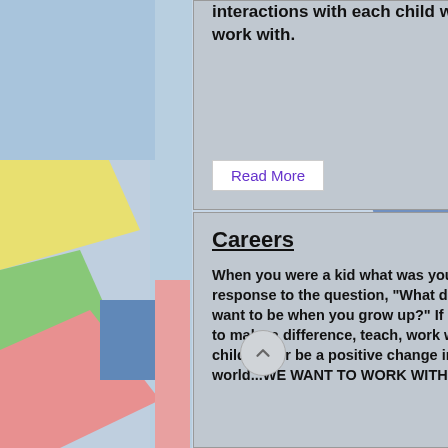interactions with each child we work with.
Read More
Careers
When you were a kid what was your response to the question, "What do you want to be when you grow up?"  If it was to make a difference, teach, work with children, or be a positive change in the world...WE WANT TO WORK WITH YOU!!